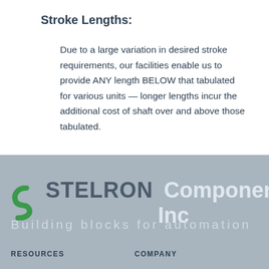Stroke Lengths:
Due to a large variation in desired stroke requirements, our facilities enable us to provide ANY length BELOW that tabulated for various units — longer lengths incur the additional cost of shaft over and above those tabulated.
[Figure (logo): Stelron Components, Inc logo with green stylized S-curve icon and text 'STELRON Components, Inc', tagline 'Building blocks for automation']
RESOURCES    COMPANY